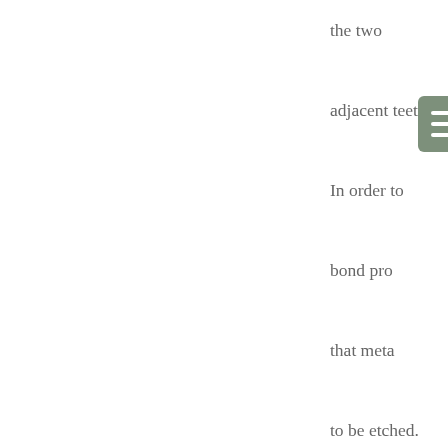the two adjacent teeth. In order to bond pro that meta to be etched. The etching produces microscopic irregularities in the surface that make the metal bond well to dental bonding